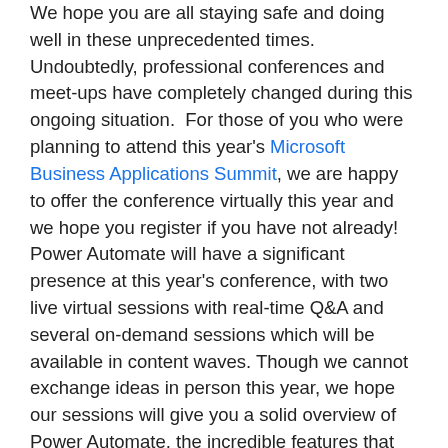We hope you are all staying safe and doing well in these unprecedented times. Undoubtedly, professional conferences and meet-ups have completely changed during this ongoing situation. For those of you who were planning to attend this year's Microsoft Business Applications Summit, we are happy to offer the conference virtually this year and we hope you register if you have not already! Power Automate will have a significant presence at this year's conference, with two live virtual sessions with real-time Q&A and several on-demand sessions which will be available in content waves. Though we cannot exchange ideas in person this year, we hope our sessions will give you a solid overview of Power Automate, the incredible features that are now available, and examples of how Power Automate can unlock automation capabilities that can elevate your organization's productivity, efficiency, and execution. Power Automate is one of the few automation services enabling seamless automation across your entire IT environment whether on-prem or in the cloud, with access to over 300+ connectors, and now with Robotic Process Automation (RPA) capabilities to automate your legacy applications. In fact, Power Automate is giving the...